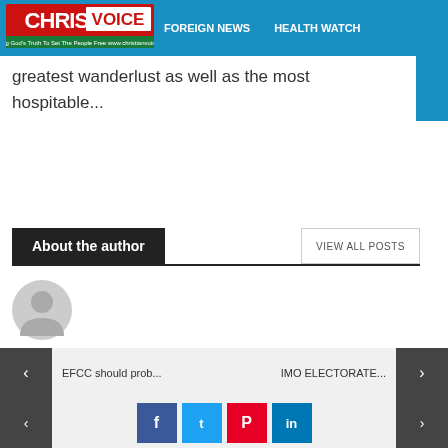Christian Voice | FOREIGN NEWS | HEALTH WATCH
greatest wanderlust as well as the most hospitable...
About the author
VIEW ALL POSTS
[Figure (illustration): Circular grey default author avatar icon]
Christian Voice
EFCC should prob... | IMO ELECTORATE...
Social share buttons: Facebook, Twitter, Pinterest, LinkedIn